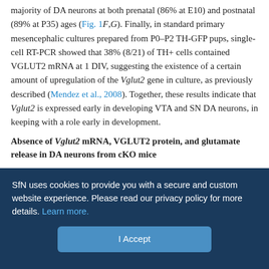majority of DA neurons at both prenatal (86% at E10) and postnatal (89% at P35) ages (Fig. 1F,G). Finally, in standard primary mesencephalic cultures prepared from P0–P2 TH-GFP pups, single-cell RT-PCR showed that 38% (8/21) of TH+ cells contained VGLUT2 mRNA at 1 DIV, suggesting the existence of a certain amount of upregulation of the Vglut2 gene in culture, as previously described (Mendez et al., 2008). Together, these results indicate that Vglut2 is expressed early in developing VTA and SN DA neurons, in keeping with a role early in development.
Absence of Vglut2 mRNA, VGLUT2 protein, and glutamate release in DA neurons from cKO mice
We used a cKO approach to selectively disrupt the Vglut2 gene in DAT-expressing DA neurons (Fig. 2). The cKO mice were generated
SfN uses cookies to provide you with a secure and custom website experience. Please read our privacy policy for more details. Learn more.